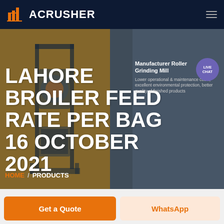ACRUSHER
LAHORE BROILER FEED RATE PER BAG 16 OCTOBER 2021
[Figure (screenshot): Industrial grinding mill machine image overlaid on dark background with product info text: 'Manufacturer Roller Grinding Mill' and 'Lower operational & maintenance costs, excellent environmental protection, better quality of finished products']
HOME / PRODUCTS
Get a Quote
WhatsApp